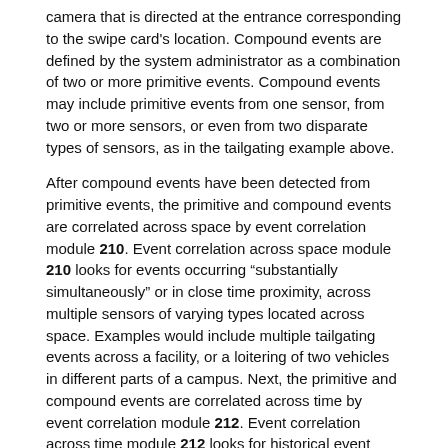camera that is directed at the entrance corresponding to the swipe card's location. Compound events are defined by the system administrator as a combination of two or more primitive events. Compound events may include primitive events from one sensor, from two or more sensors, or even from two disparate types of sensors, as in the tailgating example above.
After compound events have been detected from primitive events, the primitive and compound events are correlated across space by event correlation module 210. Event correlation across space module 210 looks for events occurring "substantially simultaneously" or in close time proximity, across multiple sensors of varying types located across space. Examples would include multiple tailgating events across a facility, or a loitering of two vehicles in different parts of a campus. Next, the primitive and compound events are correlated across time by event correlation module 212. Event correlation across time module 212 looks for historical event correlations between events detected now, and events that occurred historically. Examples would include the same person (as identified by their swipe card) allowing tailgating on multiple